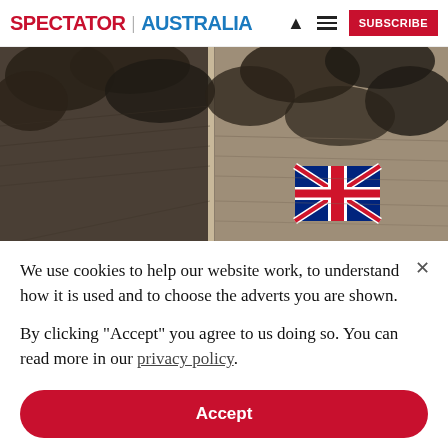SPECTATOR | AUSTRALIA  [person icon] [menu icon] SUBSCRIBE
[Figure (photo): Two-panel illustration showing an Australian flag being squeezed between dark storm clouds against a textured background]
We use cookies to help our website work, to understand how it is used and to choose the adverts you are shown.
By clicking "Accept" you agree to us doing so. You can read more in our privacy policy.
Accept